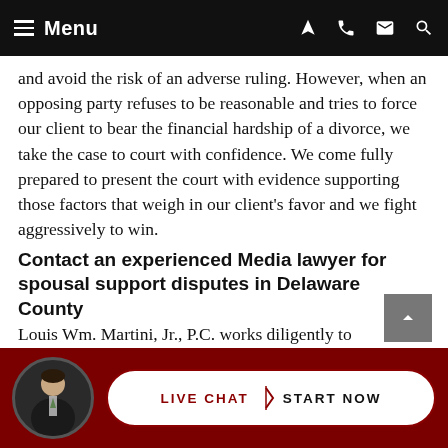Menu (navigation bar with hamburger icon, location, phone, email, search icons)
and avoid the risk of an adverse ruling. However, when an opposing party refuses to be reasonable and tries to force our client to bear the financial hardship of a divorce, we take the case to court with confidence. We come fully prepared to present the court with evidence supporting those factors that weigh in our client’s favor and we fight aggressively to win.
Contact an experienced Media lawyer for spousal support disputes in Delaware County
Louis Wm. Martini, Jr., P.C. works diligently to help clients obtain fair alimony orders. Call us at 610-624-4227 or contact our office online to schedule a free consultation. We are conveniently located at 206 West State Street, just a few short
LIVE CHAT | START NOW (chat button with attorney photo)